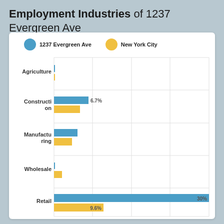Employment Industries of 1237 Evergreen Ave
[Figure (grouped-bar-chart): Employment Industries of 1237 Evergreen Ave]